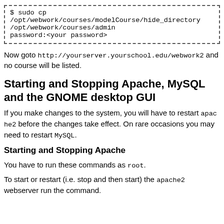$ sudo cp /opt/webwork/courses/modelCourse/hide_directory /opt/webwork/courses/admin
password:<your password>
Now goto http://yourserver.yourschool.edu/webwork2 and no course will be listed.
Starting and Stopping Apache, MySQL and the GNOME desktop GUI
If you make changes to the system, you will have to restart apache2 before the changes take effect. On rare occasions you may need to restart MySQL.
Starting and Stopping Apache
You have to run these commands as root.
To start or restart (i.e. stop and then start) the apache2 webserver run the command.